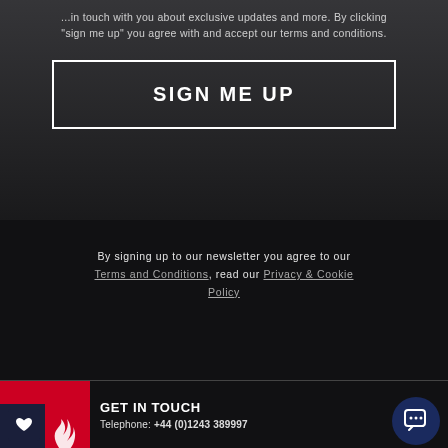...in touch with you about exclusive updates and more. By clicking "sign me up" you agree with and accept our terms and conditions.
SIGN ME UP
By signing up to our newsletter you agree to our Terms and Conditions, read our Privacy & Cookie Policy
GET IN TOUCH
Telephone: +44 (0)1243 389997